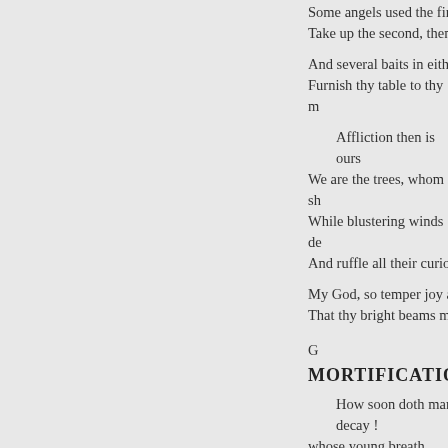Some angels used the first; If we take up the second, then
And several baits in either; Furnish thy table to thy m
Affliction then is ours; We are the trees, whom sh While blustering winds de And ruffle all their curiou
My God, so temper joy a That thy bright beams ma
G
MORTIFICATION.
How soon doth man decay ! whose young breath
Scarce knows the way; Thos unto death.
When boys go first to bed, T their breath.